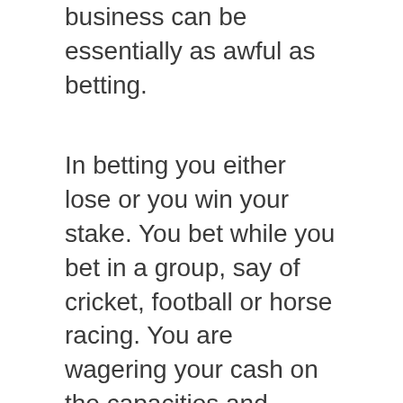business can be essentially as awful as betting.
In betting you either lose or you win your stake. You bet while you bet in a group, say of cricket, football or horse racing. You are wagering your cash on the capacities and execution of others over which you have no control. Indeed, even the actual players don't know whether they will win or lose.
This isn't so the situation in stock [link]. At the most the cost of your portions falls by a specific rate. You don't lose your entire